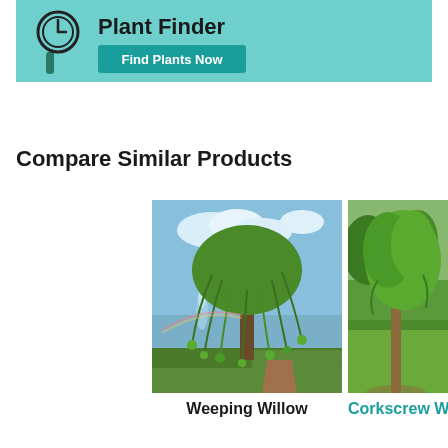[Figure (illustration): Plant Finder banner with teal background, magnifying glass icon, bold 'Plant Finder' text, and a 'Find Plants Now' teal button]
Compare Similar Products
[Figure (photo): Photograph of a Weeping Willow tree with drooping branches near a lake with a fountain, manicured hedges in the foreground]
Weeping Willow
[Figure (photo): Photograph of a Corkscrew Willow tree with curly branches in a green park setting (partially cropped)]
Corkscrew W